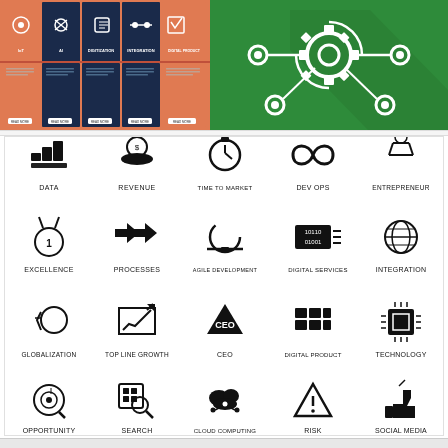[Figure (illustration): Top-left panel showing digitization card UI with salmon/navy colored cards with icons (IoT, AI, Digitization, Integration, Digital Product) and read more buttons]
[Figure (illustration): Top-right green panel with white gear/settings network icon on dark green background with long shadow]
ICON SET FOR DIGITILIZATION VOL 2
[Figure (illustration): Icon grid with 20 icons: DATA, REVENUE, TIME TO MARKET, DEV OPS, ENTREPRENEUR, EXCELLENCE, PROCESSES, AGILE DEVELOPMENT, DIGITAL SERVICES, INTEGRATION, GLOBALIZATION, TOP LINE GROWTH, CEO, DIGITAL PRODUCT, TECHNOLOGY, OPPORTUNITY, SEARCH, CLOUD COMPUTING, RISK, SOCIAL MEDIA]
[Figure (illustration): Bottom strip partial view]